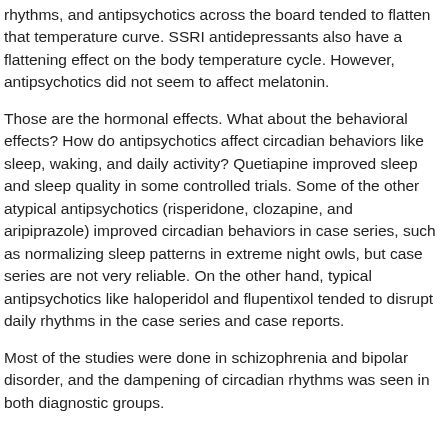rhythms, and antipsychotics across the board tended to flatten that temperature curve. SSRI antidepressants also have a flattening effect on the body temperature cycle. However, antipsychotics did not seem to affect melatonin.
Those are the hormonal effects. What about the behavioral effects? How do antipsychotics affect circadian behaviors like sleep, waking, and daily activity? Quetiapine improved sleep and sleep quality in some controlled trials. Some of the other atypical antipsychotics (risperidone, clozapine, and aripiprazole) improved circadian behaviors in case series, such as normalizing sleep patterns in extreme night owls, but case series are not very reliable. On the other hand, typical antipsychotics like haloperidol and flupentixol tended to disrupt daily rhythms in the case series and case reports.
Most of the studies were done in schizophrenia and bipolar disorder, and the dampening of circadian rhythms was seen in both diagnostic groups.